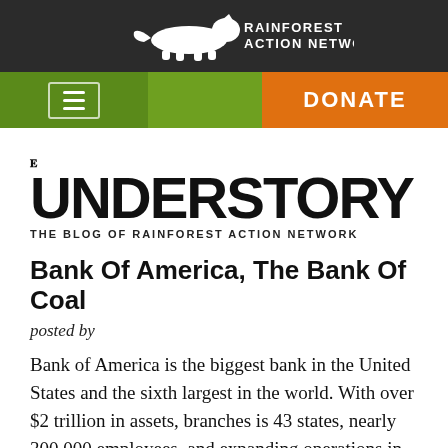RAINFOREST ACTION NETWORK
THE UNDERSTORY — THE BLOG OF RAINFOREST ACTION NETWORK
Bank Of America, The Bank Of Coal
posted by
Bank of America is the biggest bank in the United States and the sixth largest in the world. With over $2 trillion in assets, branches is 43 states, nearly 300,000 employees, and expanding operations in Asia, Europe the Middle East, Africa, Latin America and Canada, the scale and reach of Bank of